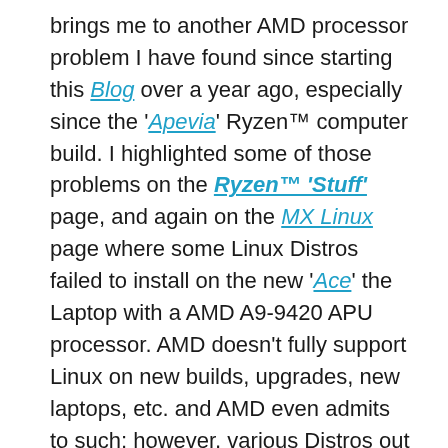brings me to another AMD processor problem I have found since starting this Blog over a year ago, especially since the 'Apevia' Ryzen™ computer build. I highlighted some of those problems on the Ryzen™ 'Stuff' page, and again on the MX Linux page where some Linux Distros failed to install on the new 'Ace' the Laptop with a AMD A9-9420 APU processor. AMD doesn't fully support Linux on new builds, upgrades, new laptops, etc. and AMD even admits to such; however, various Distros out of the various 2000+ of them also add to the problem, i.e. AMD does support some Distros, e.g. Red Hat Enterprise Linux (RHEL). Confusing because there are 2000+ Linux Distros, some of them update drivers/firmware 'n some don't or are slow at doing so. Enough...basically, AMD 'n Linux have problems when placed together. AMD Ryzen products can also be